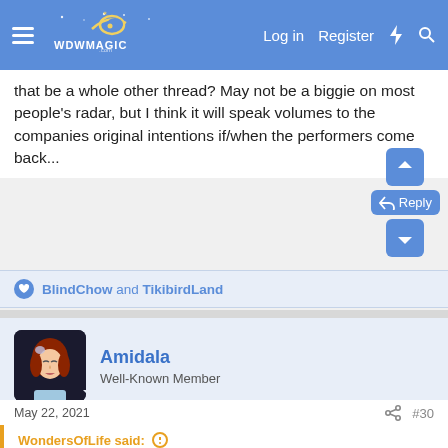WDWMAGIC — Log in  Register
that be a whole other thread? May not be a biggie on most people's radar, but I think it will speak volumes to the companies original intentions if/when the performers come back...
BlindChow and TikibirdLand
Amidala
Well-Known Member
May 22, 2021
#30
WondersOfLife said:
I imagine you either missed the pre-show, or you just weren't able to get to the pre-show.